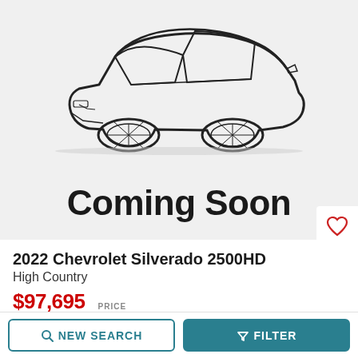[Figure (illustration): Line drawing outline of a sports car (placeholder vehicle image) shown from rear three-quarter view, with 'Coming Soon' text below it on a light gray background]
2022 Chevrolet Silverado 2500HD
High Country
$97,695
PRICE
NEW SEARCH
FILTER